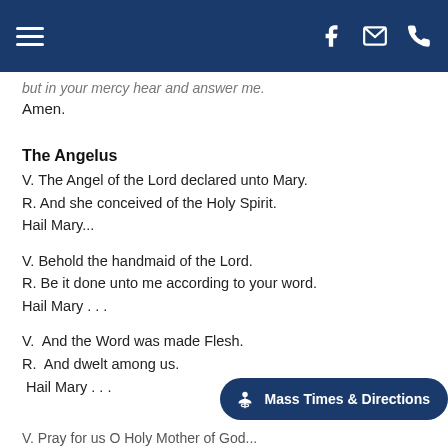Navigation bar with hamburger menu, Facebook, email, and phone icons
but in your mercy hear and answer me.
Amen.
The Angelus
V. The Angel of the Lord declared unto Mary.
R. And she conceived of the Holy Spirit.
Hail Mary...
V. Behold the handmaid of the Lord.
R. Be it done unto me according to your word.
Hail Mary . . .
V.  And the Word was made Flesh.
R.  And dwelt among us.
Hail Mary . . .
V. Pray for us O Holy Mother of God...